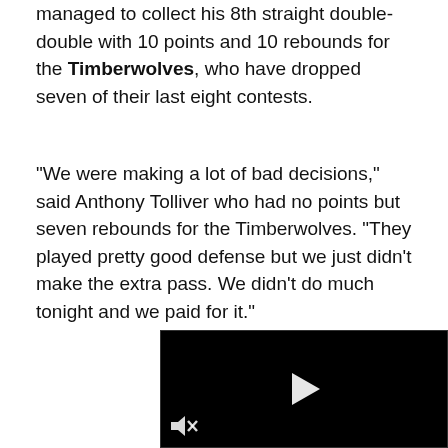managed to collect his 8th straight double-double with 10 points and 10 rebounds for the Timberwolves, who have dropped seven of their last eight contests.
"We were making a lot of bad decisions," said Anthony Tolliver who had no points but seven rebounds for the Timberwolves. "They played pretty good defense but we just didn't make the extra pass. We didn't do much tonight and we paid for it."
[Figure (screenshot): Embedded video player with black background, white play button triangle in center, mute icon in bottom-left corner, and a video control bar below]